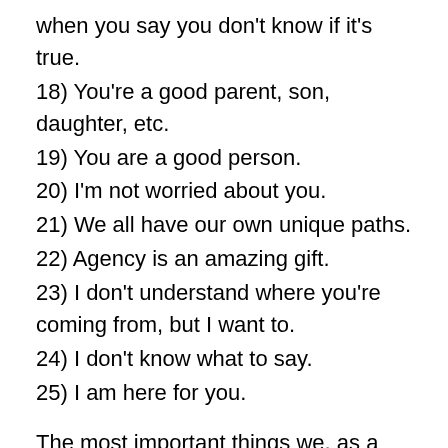when you say you don’t know if it’s true.
18) You’re a good parent, son, daughter, etc.
19) You are a good person.
20) I’m not worried about you.
21) We all have our own unique paths.
22) Agency is an amazing gift.
23) I don’t understand where you’re coming from, but I want to.
24) I don’t know what to say.
25) I am here for you.
The most important things we, as a believers, can do to support loved ones who have stepped away from the Church are to listen to them, to learn from them, and to love them. I believe that those who leave the Church offer active members opportunities to learn and grow in